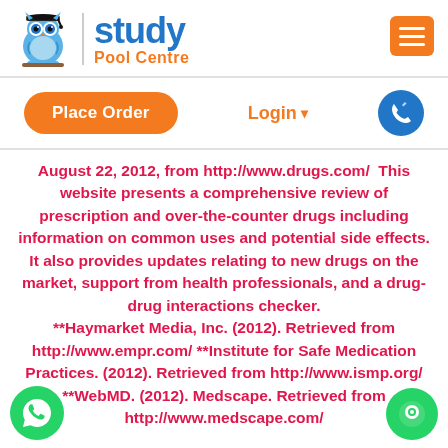[Figure (logo): Study Pool Centre logo with blue owl wearing graduation cap and text 'study Pool Centre' in blue and orange]
[Figure (other): Orange hamburger menu button in top right corner]
[Figure (other): Orange 'Place Order' rounded button, orange 'Login' text with caret, blue circle phone icon]
August 22, 2012, from http://www.drugs.com/  This website presents a comprehensive review of prescription and over-the-counter drugs including information on common uses and potential side effects. It also provides updates relating to new drugs on the market, support from health professionals, and a drug-drug interactions checker. **Haymarket Media, Inc. (2012). Retrieved from http://www.empr.com/ **Institute for Safe Medication Practices. (2012). Retrieved from http://www.ismp.org/ **WebMD. (2012). Medscape. Retrieved from http://www.medscape.com/
[Figure (logo): Green WhatsApp circle icon bottom left]
[Figure (logo): Green chat circle icon bottom right]